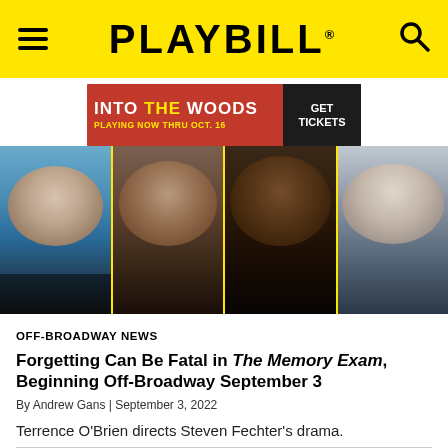PLAYBILL
[Figure (illustration): Advertisement banner for Into the Woods musical: red background with 'INTO THE WOODS' in white and yellow text, 'PLAYING NOW THRU OCT. 16' in yellow, and 'GET TICKETS' button on dark background]
[Figure (photo): Four headshot photos of cast members side by side, separated by yellow dividers: a woman in blue, a bearded man, a Black woman, and an older white-haired man]
OFF-BROADWAY NEWS
Forgetting Can Be Fatal in The Memory Exam, Beginning Off-Broadway September 3
By Andrew Gans | September 3, 2022
Terrence O'Brien directs Steven Fechter's drama.
[Figure (photo): Partial bottom photo showing performers on a dark stage, cropped at the bottom of the page]